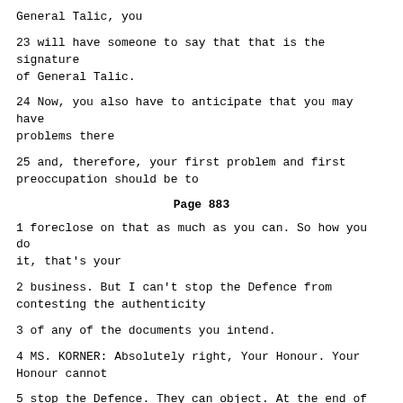General Talic, you
23 will have someone to say that that is the signature of General Talic.
24 Now, you also have to anticipate that you may have problems there
25 and, therefore, your first problem and first preoccupation should be to
Page 883
1 foreclose on that as much as you can. So how you do it, that's your
2 business. But I can't stop the Defence from contesting the authenticity
3 of any of the documents you intend.
4 MS. KORNER: Absolutely right, Your Honour. Your Honour cannot
5 stop the Defence. They can object. At the end of the day though, Your
6 Honour will have to make a ruling.
7 JUDGE AGIUS: Of course. Of course. And probably not at the end